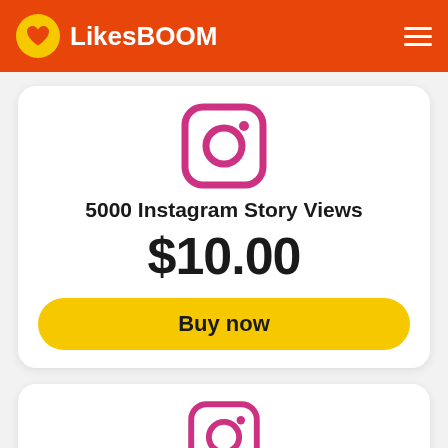LikesBOOM
[Figure (logo): Instagram logo icon - pink rounded square with circle and dot]
5000 Instagram Story Views
$10.00
Buy now
[Figure (logo): Instagram logo icon - pink rounded square with circle and dot (partial second card)]